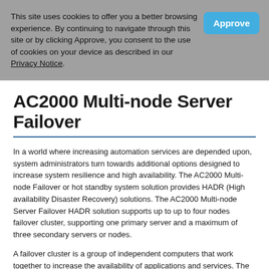This site uses cookies to offer you a better browsing experience. By continuing to navigate through this site or by clicking Approve, you consent to the use of cookies on your device as described in our Privacy Notice.
AC2000 Multi-node Server Failover
In a world where increasing automation services are depended upon, system administrators turn towards additional options designed to increase system resilience and high availability. The AC2000 Multi-node Failover or hot standby system solution provides HADR (High availability Disaster Recovery) solutions. The AC2000 Multi-node Server Failover HADR solution supports up to up to four nodes failover cluster, supporting one primary server and a maximum of three secondary servers or nodes.
A failover cluster is a group of independent computers that work together to increase the availability of applications and services. The clustered servers (called nodes) are connected by physical cables and by software. If one of the cluster nodes fails, another node begins to provide service (a process known as failover).